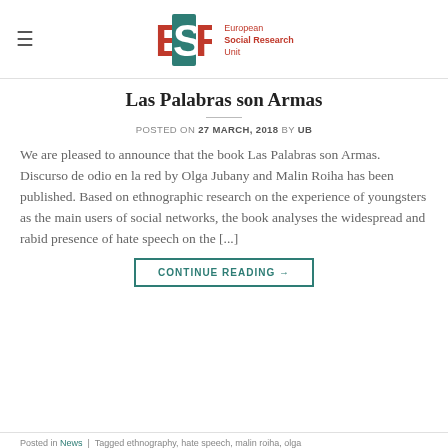European Social Research Unit — ESRU logo header
Las Palabras son Armas
POSTED ON 27 MARCH, 2018 BY UB
We are pleased to announce that the book Las Palabras son Armas. Discurso de odio en la red by Olga Jubany and Malin Roiha has been published. Based on ethnographic research on the experience of youngsters as the main users of social networks, the book analyses the widespread and rabid presence of hate speech on the [...]
CONTINUE READING →
Posted in News | Tagged ethnography, hate speech, malin roiha, olga